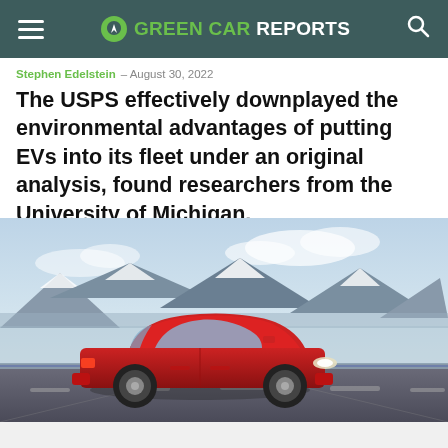GREEN CAR REPORTS
Stephen Edelstein  –  August 30, 2022
The USPS effectively downplayed the environmental advantages of putting EVs into its fleet under an original analysis, found researchers from the University of Michigan.
[Figure (photo): A red Tesla Model 3 driving on a road with snow-capped mountains in the background under a partly cloudy sky.]